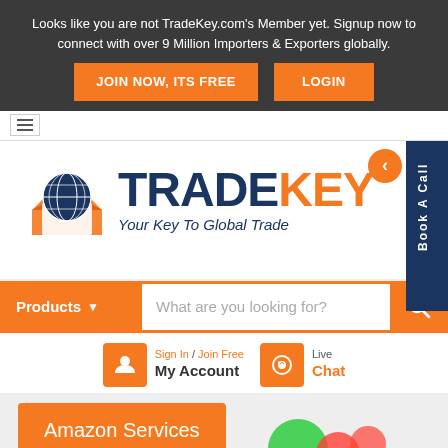Looks like you are not TradeKey.com's Member yet. Signup now to connect with over 9 Million Importers & Exporters globally.
JOIN NOW, ITS FREE
LOGIN
[Figure (logo): TradeKey logo with globe icon and tagline 'Your Key To Global Trade']
Book A Call
Products
What are you looking for?
Sign In / Join Free
My Account
Live
Chat
Amazon Services